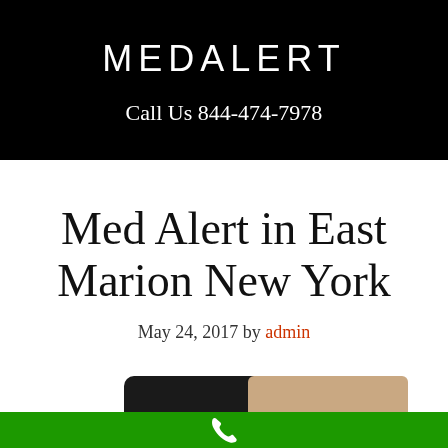MEDALERT
Call Us 844-474-7978
Med Alert in East Marion New York
May 24, 2017 by admin
[Figure (photo): A wrist wearing a medical alert device, shown partially at the bottom of the content area]
Phone/call icon on green footer bar